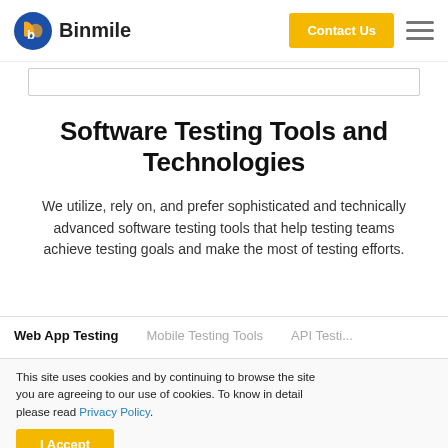Binmile | Contact Us
Software Testing Tools and Technologies
We utilize, rely on, and prefer sophisticated and technically advanced software testing tools that help testing teams achieve testing goals and make the most of testing efforts.
Web App Testing  |  Mobile Testing Tools  |  API Testi...
This site uses cookies and by continuing to browse the site you are agreeing to our use of cookies. To know in detail please read Privacy Policy.